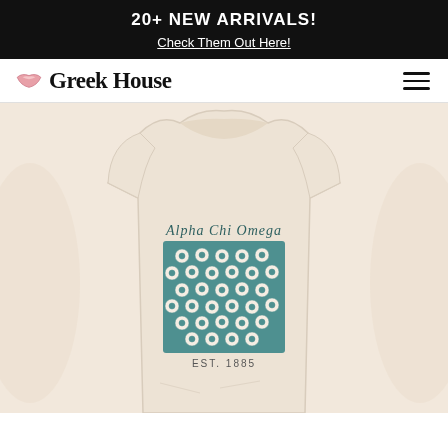20+ NEW ARRIVALS! Check Them Out Here!
[Figure (logo): Greek House logo with pink lips icon and bold serif text]
[Figure (photo): Alpha Chi Omega cream t-shirt with teal floral pattern square graphic reading 'Alpha Chi Omega' and 'EST. 1885', shown on a model, partially cropped on sides]